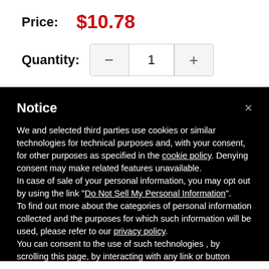Price: $10.78
Quantity: 1
Notice
We and selected third parties use cookies or similar technologies for technical purposes and, with your consent, for other purposes as specified in the cookie policy. Denying consent may make related features unavailable.
In case of sale of your personal information, you may opt out by using the link "Do Not Sell My Personal Information".
To find out more about the categories of personal information collected and the purposes for which such information will be used, please refer to our privacy policy.
You can consent to the use of such technologies , by scrolling this page, by interacting with any link or button outside of this notice or by continuing to browse otherwise. By closing this notice, you continue without accepting.